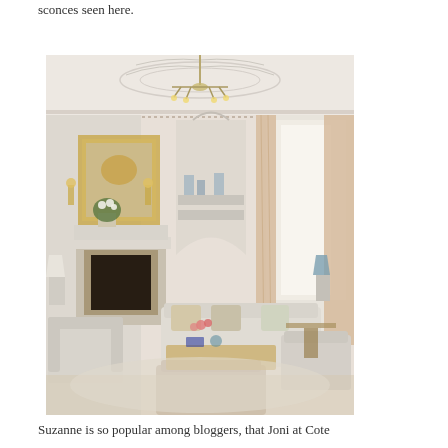sconces seen here.
[Figure (photo): Elegant traditional living room with ornate plaster ceiling, crystal chandelier, white marble fireplace, gilded mirror, neutral upholstered sofas and armchairs, blue lamp shades, tall windows with beige drapes, and built-in arched bookcase.]
Suzanne is so popular among bloggers, that Joni at Cote